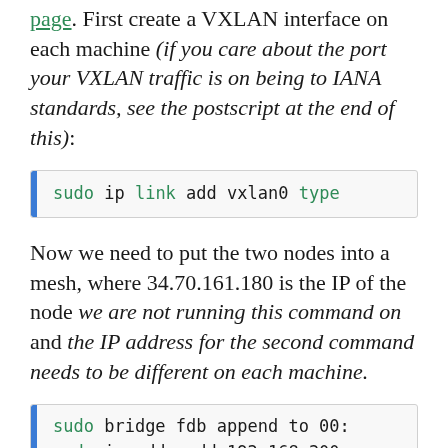page. First create a VXLAN interface on each machine (if you care about the port your VXLAN traffic is on being to IANA standards, see the postscript at the end of this):
[Figure (screenshot): Code block showing: sudo ip link add vxlan0 type]
Now we need to put the two nodes into a mesh, where 34.70.161.180 is the IP of the node we are not running this command on and the IP address for the second command needs to be different on each machine.
[Figure (screenshot): Code block showing two lines: sudo bridge fdb append to 00: and sudo ip addr add 192.168.200.]